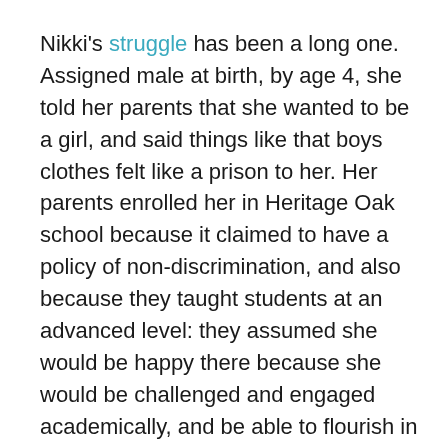Nikki's struggle has been a long one. Assigned male at birth, by age 4, she told her parents that she wanted to be a girl, and said things like that boys clothes felt like a prison to her. Her parents enrolled her in Heritage Oak school because it claimed to have a policy of non-discrimination, and also because they taught students at an advanced level: they assumed she would be happy there because she would be challenged and engaged academically, and be able to flourish in a non-discriminatory environment.

Except Oakwood deferred an official